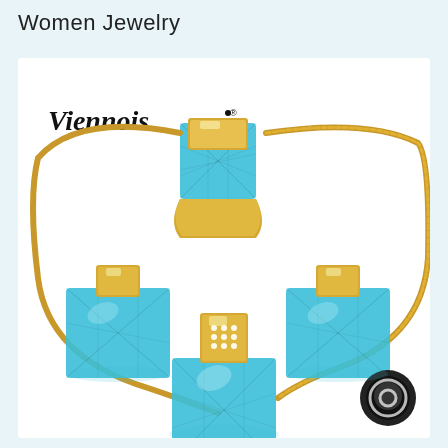Women Jewelry
[Figure (photo): Product photo of Viennois brand women jewelry set featuring blue crystal and gold-tone pieces: a ring, two stud earrings, and a pendant necklace with snake chain. Blue faceted square crystals with gold bar accents. Small chat bubble icon in lower right corner.]